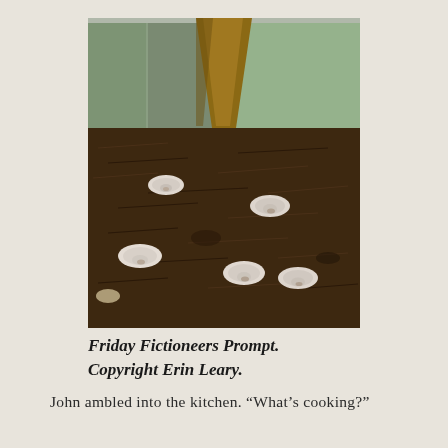[Figure (photo): Photograph of several small white mushrooms growing from dark, mulchy soil near a wooden fence post and green painted wooden fence boards.]
Friday Fictioneers Prompt. Copyright Erin Leary.
John ambled into the kitchen. “What’s cooking?”